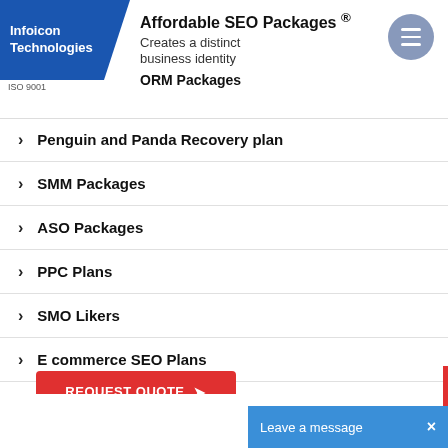Infoicon Technologies ISO 9001 | Affordable SEO Packages ® Creates a distinct business identity | ORM Packages
Penguin and Panda Recovery plan
SMM Packages
ASO Packages
PPC Plans
SMO Likers
E commerce SEO Plans
Facebook Paid Advertising
REQUEST QUOTE
Leave a message  ×